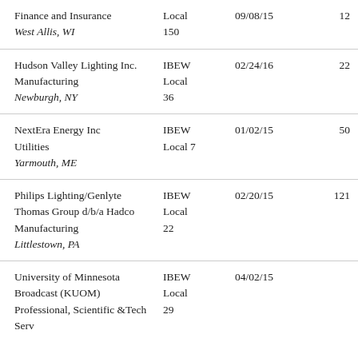| Finance and Insurance
West Allis, WI | Local 150 | 09/08/15 | 12 |
| Hudson Valley Lighting Inc.
Manufacturing
Newburgh, NY | IBEW Local 36 | 02/24/16 | 22 |
| NextEra Energy Inc
Utilities
Yarmouth, ME | IBEW Local 7 | 01/02/15 | 50 |
| Philips Lighting/Genlyte Thomas Group d/b/a Hadco
Manufacturing
Littlestown, PA | IBEW Local 22 | 02/20/15 | 121 |
| University of Minnesota Broadcast (KUOM)
Professional, Scientific &Tech Serv | IBEW Local 29 | 04/02/15 |  |